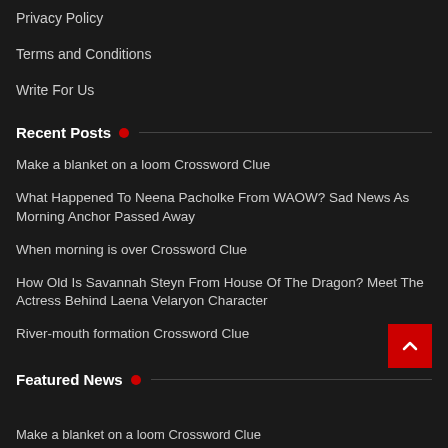Privacy Policy
Terms and Conditions
Write For Us
Recent Posts
Make a blanket on a loom Crossword Clue
What Happened To Neena Pacholke From WAOW? Sad News As Morning Anchor Passed Away
When morning is over Crossword Clue
How Old Is Savannah Steyn From House Of The Dragon? Meet The Actress Behind Laena Velaryon Character
River-mouth formation Crossword Clue
Featured News
Make a blanket on a loom Crossword Clue